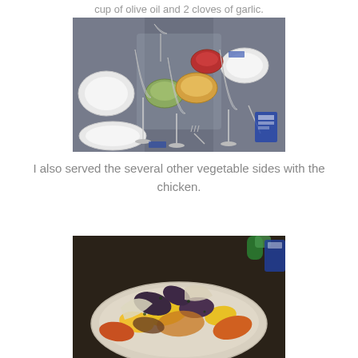cup of olive oil and 2 cloves of garlic.
[Figure (photo): Overhead view of a dining table set with wine glasses, white plates, and several small dishes of food including vegetables and a stuffed tomato.]
I also served the several other vegetable sides with the chicken.
[Figure (photo): Close-up of a dish of roasted vegetables including yellow squash, eggplant, fennel, and other mixed vegetables with herbs.]